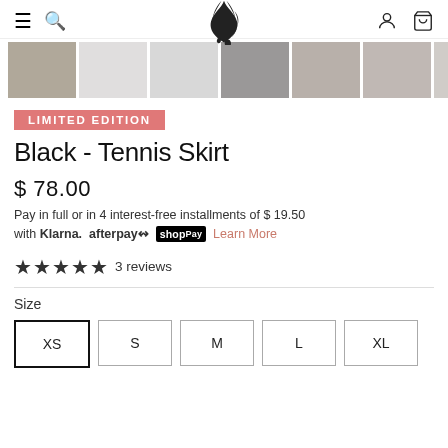[Figure (screenshot): E-commerce product page header with hamburger menu, search icon, bird logo, user account icon, and cart icon]
[Figure (photo): Row of product thumbnail images showing a black tennis skirt from various angles]
LIMITED EDITION
Black - Tennis Skirt
$ 78.00
Pay in full or in 4 interest-free installments of $ 19.50 with Klarna. afterpay⇿ shopPay Learn More
★★★★★ 3 reviews
Size
XS  S  M  L  XL